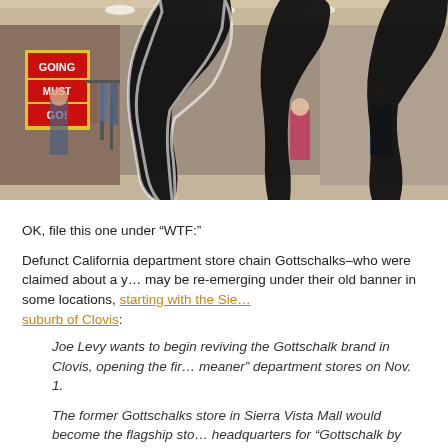[Figure (photo): Photo of a retail department store interior with sale signs, clothing racks, shoppers, and black silhouette figures overlaid on the image.]
OK, file this one under “WTF:”
Defunct California department store chain Gottschalks–who were claimed about a year ago–may be re-emerging under their old banner in some locations, starting with the Sierra Nevada suburb of Clovis:
Joe Levy wants to begin reviving the Gottschalk brand in Clovis, opening the first of his “leaner, meaner” department stores on Nov. 1.
The former Gottschalks store in Sierra Vista Mall would become the flagship store and headquarters for “Gottschalk by Joe Levy Inc.,” a company created by the now-former Gottschalks CEO. The new retailer uses a variant of its predecessor’s name to avoid legal complications and bring back the kind of store many Valley shoppers still love.